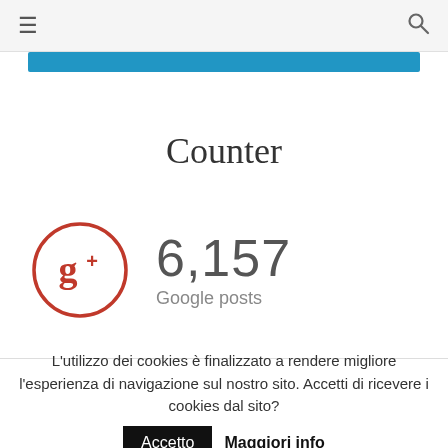≡  🔍
Counter
[Figure (infographic): Google+ circle icon (red/orange) with g+ symbol, next to '6,157 Google posts' counter]
L'utilizzo dei cookies è finalizzato a rendere migliore l'esperienza di navigazione sul nostro sito. Accetti di ricevere i cookies dal sito?  Accetto  Maggiori info